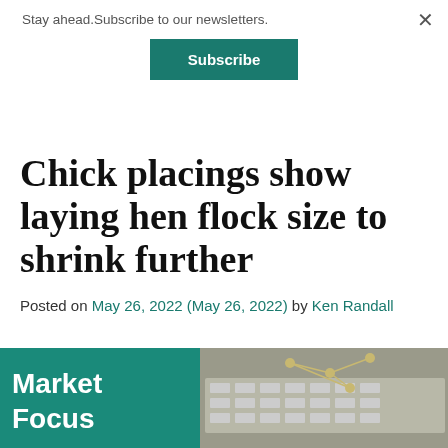Stay ahead.Subscribe to our newsletters.
Subscribe
Chick placings show laying hen flock size to shrink further
Posted on May 26, 2022 (May 26, 2022) by Ken Randall
[Figure (photo): Market Focus banner image with teal background on left and a network/graph visualization on the right]